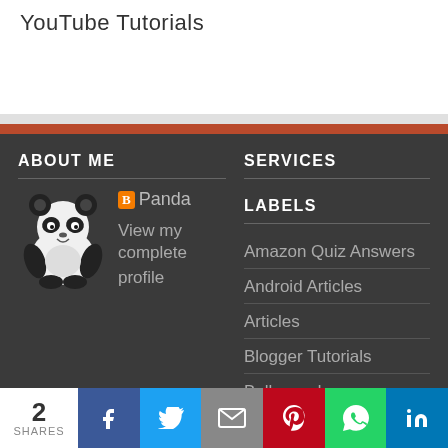YouTube Tutorials
ABOUT ME
Panda
View my complete profile
SERVICES
LABELS
Amazon Quiz Answers
Android Articles
Articles
Blogger Tutorials
Bollywood
2
SHARES